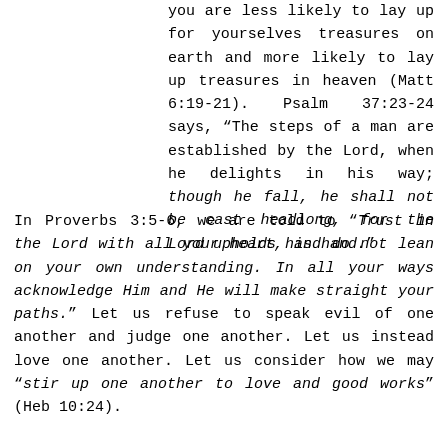you are less likely to lay up for yourselves treasures on earth and more likely to lay up treasures in heaven (Matt 6:19-21). Psalm 37:23-24 says, “The steps of a man are established by the Lord, when he delights in his way; though he fall, he shall not be cast headlong, for the Lord upholds his hand.”
In Proverbs 3:5-6, we are told to “Trust in the Lord with all your heart, and do not lean on your own understanding. In all your ways acknowledge Him and He will make straight your paths.” Let us refuse to speak evil of one another and judge one another. Let us instead love one another. Let us consider how we may “stir up one another to love and good works” (Heb 10:24).